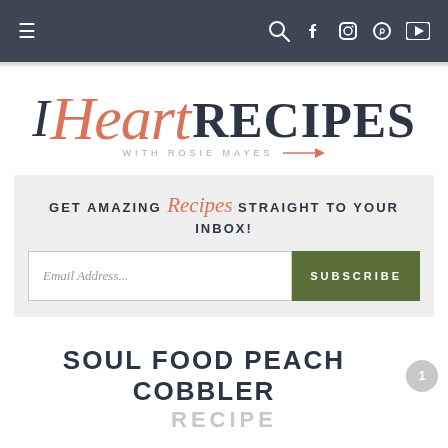≡  🔍 f 📷 p ▶
[Figure (logo): I Heart Recipes with Rosie Mayes logo — cursive coral/salmon 'Heart' beside dark sans-serif 'I' and 'RECIPES', with tagline 'WITH ROSIE MAYES' and fork icon]
GET AMAZING Recipes STRAIGHT TO YOUR INBOX!
Email Address...
SUBSCRIBE
SOUL FOOD PEACH COBBLER RECIPE